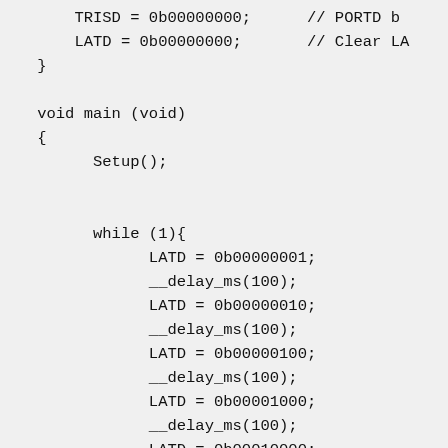TRISD = 0b00000000;    // PORTD b
        LATD = 0b00000000;      // Clear LA
    }

    void main (void)
    {
          Setup();


          while (1){
                LATD = 0b00000001;
                __delay_ms(100);
                LATD = 0b00000010;
                __delay_ms(100);
                LATD = 0b00000100;
                __delay_ms(100);
                LATD = 0b00001000;
                __delay_ms(100);
                LATD = 0b00010000;
                __delay_ms(100);